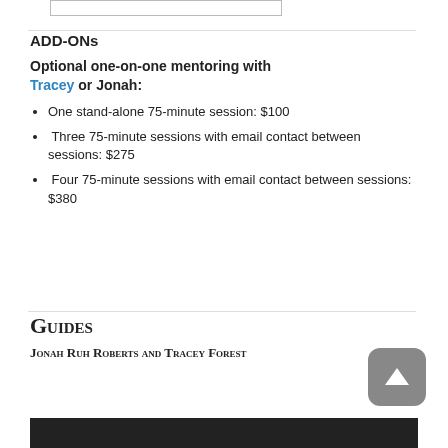ADD-ONs
Optional one-on-one mentoring with Tracey or Jonah:
One stand-alone 75-minute session: $100
Three 75-minute sessions with email contact between sessions: $275
Four 75-minute sessions with email contact between sessions: $380
Guides
Jonah Ruh Roberts and Tracey Forest
[Figure (photo): Photo strip at the bottom of the page]